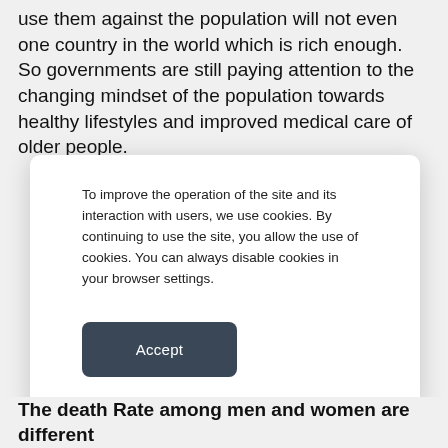use them against the population will not even one country in the world which is rich enough. So governments are still paying attention to the changing mindset of the population towards healthy lifestyles and improved medical care of older people.
[Figure (screenshot): Cookie consent modal dialog with text and Accept button]
The death Rate among men and women are different